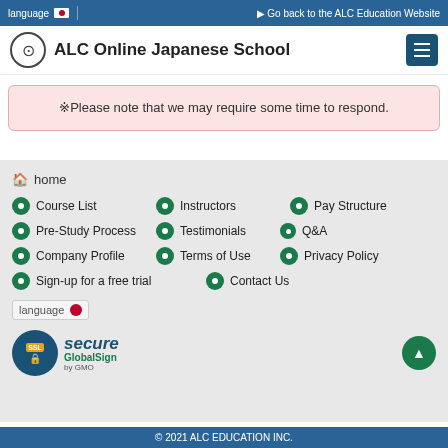language  Go back to the ALC Education Website
ALC Online Japanese School
※Please note that we may require some time to respond.
home
Course List
Instructors
Pay Structure
Pre-Study Process
Testimonials
Q&A
Company Profile
Terms of Use
Privacy Policy
Sign-up for a free trial
Contact Us
language
[Figure (logo): SSL Secure GlobalSign by GMO badge]
© 2021 ALC EDUCATION INC.